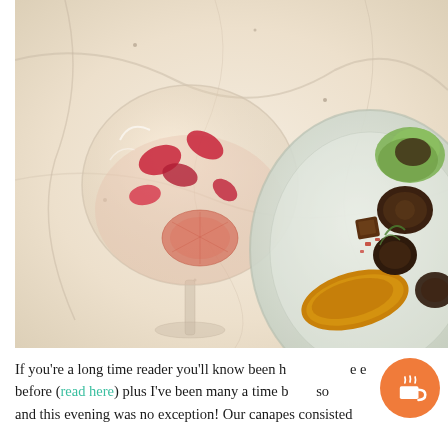[Figure (photo): Overhead photo of a cocktail glass with rose petals and strawberry/grapefruit garnish on a marble surface, alongside a plate of canapés including fried food and lettuce wraps with various toppings.]
If you're a long time reader you'll know been [here] before (read here) plus I've been many a time [since] so and this evening was no exception! Our canapes consisted